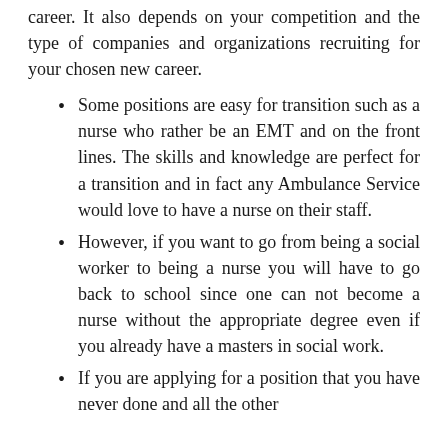career.  It also depends on your competition and the type of companies and organizations recruiting for your chosen new career.
Some positions are easy for transition such as a nurse who rather be an EMT and on the front lines.  The skills and knowledge are perfect for a transition and in fact any Ambulance Service would love to have a nurse on their staff.
However, if you want to go from being a social worker to being a nurse you will have to go back to school since one can not become a nurse without the appropriate degree even if you already have a masters in social work.
If you are applying for a position that you have never done and all the other